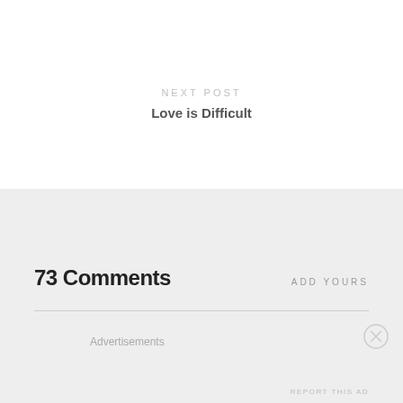NEXT POST
Love is Difficult
73 Comments
ADD YOURS
Advertisements
REPORT THIS AD